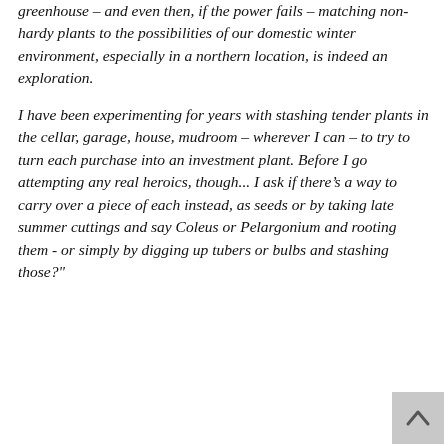greenhouse – and even then, if the power fails – matching non-hardy plants to the possibilities of our domestic winter environment, especially in a northern location, is indeed an exploration.
I have been experimenting for years with stashing tender plants in the cellar, garage, house, mudroom – wherever I can – to try to turn each purchase into an investment plant. Before I go attempting any real heroics, though... I ask if there's a way to carry over a piece of each instead, as seeds or by taking late summer cuttings and say Coleus or Pelargonium and rooting them - or simply by digging up tubers or bulbs and stashing those?"